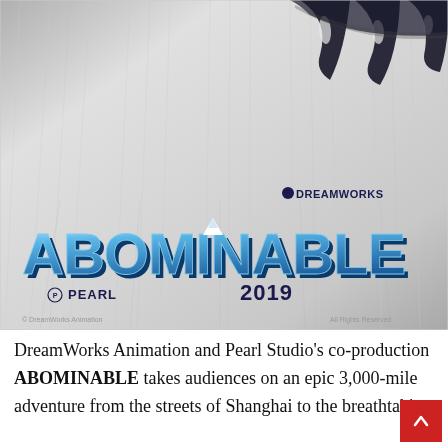[Figure (illustration): Movie poster for DreamWorks Animation and Pearl Studio's 'Abominable' (2019). Background shows white/grey yeti fur texture with dark claws/teeth visible at the top right. The center shows the movie logo 'ABOMINABLE' in large blue 3D block letters with a mountain/snowcap motif in the letter M. Above the title on the right is the DreamWorks logo. Below the title on the left is the Pearl studio logo and on the right is '2019'. Copyright text appears at the bottom of the poster.]
DreamWorks Animation and Pearl Studio's co-production ABOMINABLE takes audiences on an epic 3,000-mile adventure from the streets of Shanghai to the breathtaking